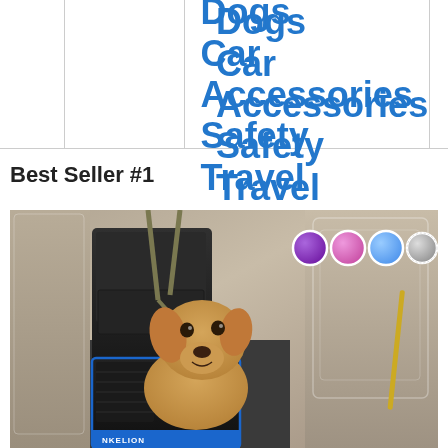Vehicles Dogs Car Accessories Safety Travel
Best Seller #1
[Figure (photo): A golden/tan puppy dog sitting inside a black and blue dog car booster seat (branded ANKELION) installed in a vehicle. The booster seat has straps connecting it to the car seat. Five color swatches are shown in the upper right: purple, pink, blue, gray, and black.]